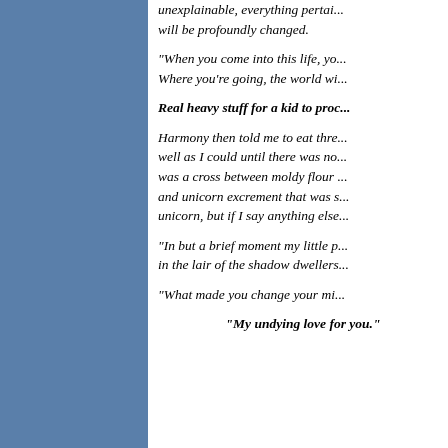unexplainable, everything pertaining to you will be profoundly changed.
“When you come into this life, yo... Where you're going, the world wi...
Real heavy stuff for a kid to proc...
Harmony then told me to eat thre... well as I could until there was no... was a cross between moldy flour ... and unicorn excrement that was s... unicorn, but if I say anything else...
“In but a brief moment my little p... in the lair of the shadow dwellers...
“What made you change your mi...
“My undying love for you.”